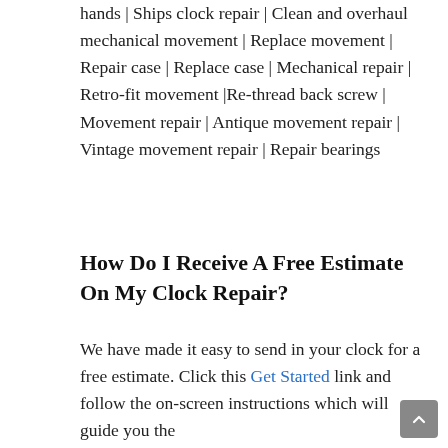hands | Ships clock repair | Clean and overhaul mechanical movement | Replace movement | Repair case | Replace case | Mechanical repair | Retro-fit movement |Re-thread back screw | Movement repair | Antique movement repair | Vintage movement repair | Repair bearings
How Do I Receive A Free Estimate On My Clock Repair?
We have made it easy to send in your clock for a free estimate. Click this Get Started link and follow the on-screen instructions which will guide you the